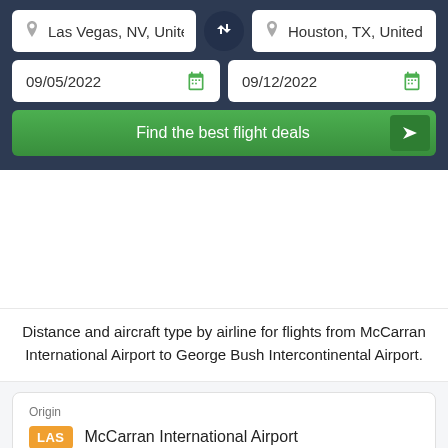Las Vegas, NV, United St
Houston, TX, United St
09/05/2022
09/12/2022
Find the best flight deals
Distance and aircraft type by airline for flights from McCarran International Airport to George Bush Intercontinental Airport.
Origin
LAS  McCarran International Airport